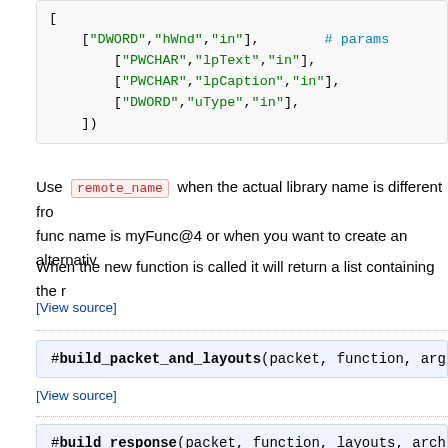[ ["DWORD","hWnd","in"], ["PWCHAR","lpText","in"], ["PWCHAR","lpCaption","in"], ["DWORD","uType","in"], ]) # params
Use remote_name when the actual library name is different from the func name is myFunc@4 or when you want to create an alternativ
When the new function is called it will return a list containing the r
[View source]
#build_packet_and_layouts(packet, function, args,
[View source]
#build_response(packet, function, layouts, arch)
[View source]